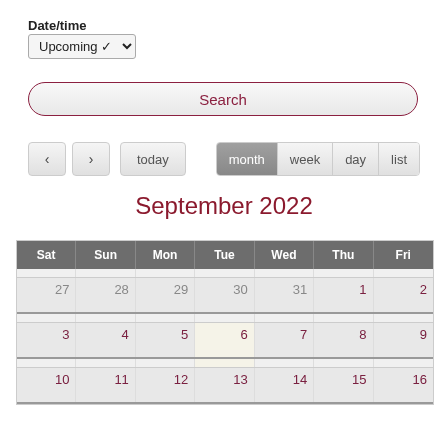Date/time
Upcoming
Search
today  month  week  day  list
September 2022
| Sat | Sun | Mon | Tue | Wed | Thu | Fri |
| --- | --- | --- | --- | --- | --- | --- |
| 27 | 28 | 29 | 30 | 31 | 1 | 2 |
| 3 | 4 | 5 | 6 | 7 | 8 | 9 |
| 10 | 11 | 12 | 13 | 14 | 15 | 16 |